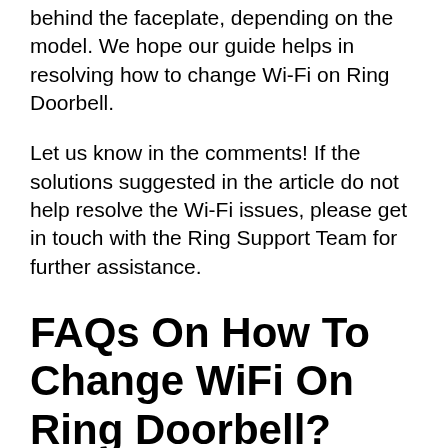behind the faceplate, depending on the model. We hope our guide helps in resolving how to change Wi-Fi on Ring Doorbell.
Let us know in the comments! If the solutions suggested in the article do not help resolve the Wi-Fi issues, please get in touch with the Ring Support Team for further assistance.
FAQs On How To Change WiFi On Ring Doorbell?
Why is my Ring Doorbell not